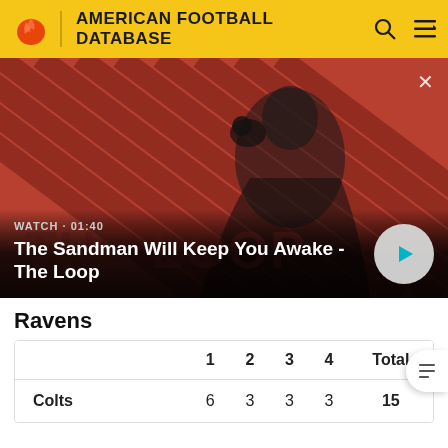AMERICAN FOOTBALL DATABASE
[Figure (screenshot): Video thumbnail for 'The Sandman Will Keep You Awake - The Loop' with a dark-cloaked figure against a red striped background. Overlay shows WATCH • 01:40 and a play button.]
Ravens
|  | 1 | 2 | 3 | 4 | Total |
| --- | --- | --- | --- | --- | --- |
| Colts | 6 | 3 | 3 | 3 | 15 |